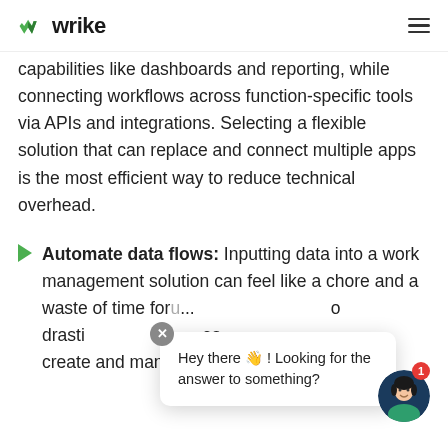wrike
capabilities like dashboards and reporting, while connecting workflows across function-specific tools via APIs and integrations. Selecting a flexible solution that can replace and connect multiple apps is the most efficient way to reduce technical overhead.
Automate data flows: Inputting data into a work management solution can feel like a chore and a waste of time for u... o drastically... es create and manage repeatable tasks
Hey there 👋 ! Looking for the answer to something?